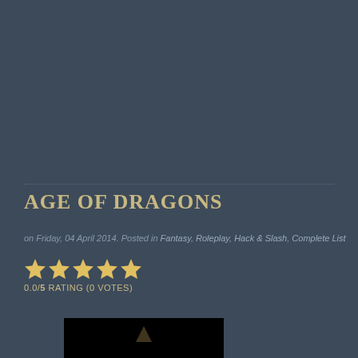AGE OF DRAGONS
on Friday, 04 April 2014. Posted in Fantasy, Roleplay, Hack & Slash, Complete List
0.0/5 RATING (0 VOTES)
[Figure (photo): Thumbnail image of Age of Dragons game, partially visible at bottom of page]